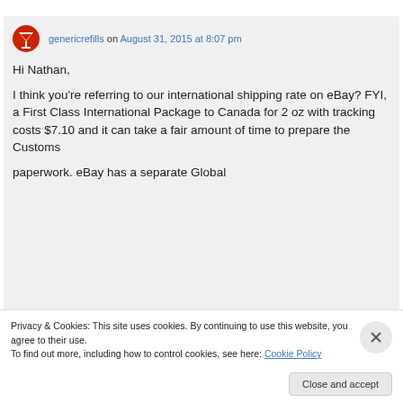genericrefills on August 31, 2015 at 8:07 pm

Hi Nathan,

I think you're referring to our international shipping rate on eBay? FYI, a First Class International Package to Canada for 2 oz with tracking costs $7.10 and it can take a fair amount of time to prepare the Customs paperwork. eBay has a separate Glob...
Privacy & Cookies: This site uses cookies. By continuing to use this website, you agree to their use.
To find out more, including how to control cookies, see here: Cookie Policy